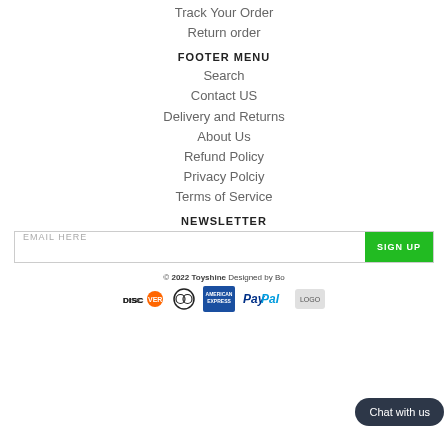Track Your Order
Return order
FOOTER MENU
Search
Contact US
Delivery and Returns
About Us
Refund Policy
Privacy Polciy
Terms of Service
NEWSLETTER
EMAIL HERE | SIGN UP
© 2022 Toyshine Designed by Bo
[Figure (logo): Payment method logos: Discover, Diners Club, American Express, PayPal, and partially obscured logo]